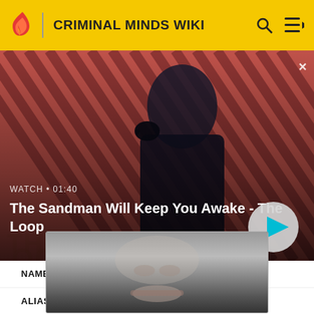CRIMINAL MINDS WIKI
[Figure (screenshot): Video banner with diagonal red/dark striped background, showing a dark-clothed figure with a raven on shoulder. Text overlay reads 'WATCH • 01:40' and 'The Sandman Will Keep You Awake - The Loop' with a play button.]
[Figure (photo): Close-up thumbnail image of a pale face, partially visible, overlapping the bottom of the video banner and the top of the info section.]
| NAME | Robert Adams |
| ALIAS | Bob |